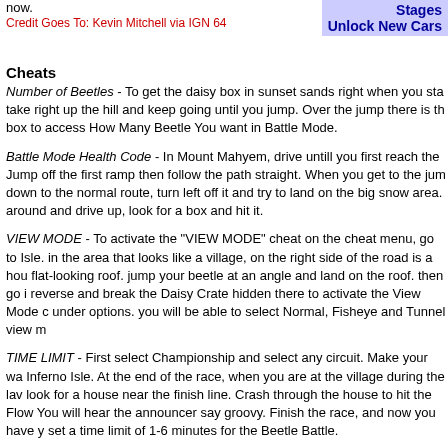now.
Credit Goes To: Kevin Mitchell via IGN 64
Stages
Unlock New Cars
Cheats
Number of Beetles - To get the daisy box in sunset sands right when you start take right up the hill and keep going until you jump. Over the jump there is the box to access How Many Beetle You want in Battle Mode.
Battle Mode Health Code - In Mount Mahyem, drive untill you first reach the Jump off the first ramp then follow the path straight. When you get to the jump down to the normal route, turn left off it and try to land on the big snow area. around and drive up, look for a box and hit it.
VIEW MODE - To activate the "VIEW MODE" cheat on the cheat menu, go to Isle. in the area that looks like a village, on the right side of the road is a house flat-looking roof. jump your beetle at an angle and land on the roof. then go in reverse and break the Daisy Crate hidden there to activate the View Mode c under options. you will be able to select Normal, Fisheye and Tunnel view m
TIME LIMIT - First select Championship and select any circuit. Make your way Inferno Isle. At the end of the race, when you are at the village during the lava look for a house near the finish line. Crash through the house to hit the Flower You will hear the announcer say groovy. Finish the race, and now you have set a time limit of 1-6 minutes for the Beetle Battle.
COLOR CHANGE - Start a championship on any circuit. Make your way to M Mayhem. As soon as you reach the grassy area at the end (staying on the path the tunnel, turn right. Look near the tree, and you will see the Flower Box. Th your car, and the computer's, to change colors during the race.
? MODE - Start a championship, and select any circuit. When racing in Cove